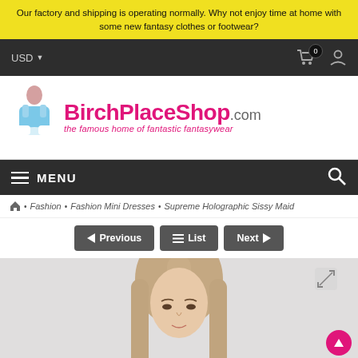Our factory and shipping is operating normally. Why not enjoy time at home with some new fantasy clothes or footwear?
USD  [cart: 0] [user icon]
[Figure (logo): BirchPlaceShop.com logo with maid figure and tagline 'the famous home of fantastic fantasywear']
MENU
Home > Fashion > Fashion Mini Dresses > Supreme Holographic Sissy Maid
Previous  List  Next
[Figure (photo): Product photo showing a model with long straight hair, partial view, gray/beige background]